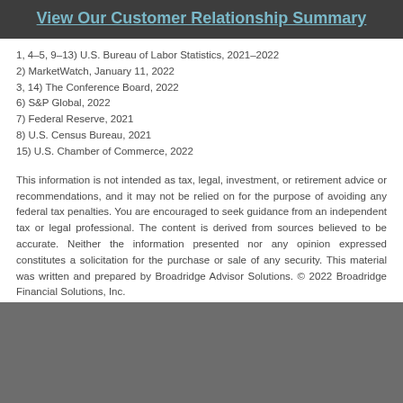View Our Customer Relationship Summary
1, 4–5, 9–13) U.S. Bureau of Labor Statistics, 2021–2022
2) MarketWatch, January 11, 2022
3, 14) The Conference Board, 2022
6) S&P Global, 2022
7) Federal Reserve, 2021
8) U.S. Census Bureau, 2021
15) U.S. Chamber of Commerce, 2022
This information is not intended as tax, legal, investment, or retirement advice or recommendations, and it may not be relied on for the purpose of avoiding any federal tax penalties. You are encouraged to seek guidance from an independent tax or legal professional. The content is derived from sources believed to be accurate. Neither the information presented nor any opinion expressed constitutes a solicitation for the purchase or sale of any security. This material was written and prepared by Broadridge Advisor Solutions. © 2022 Broadridge Financial Solutions, Inc.